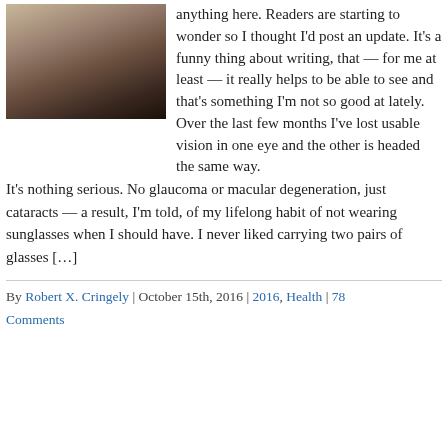[Figure (photo): Close-up photo of a person with light, slightly disheveled hair and a serious expression]
anything here. Readers are starting to wonder so I thought I'd post an update. It's a funny thing about writing, that — for me at least — it really helps to be able to see and that's something I'm not so good at lately. Over the last few months I've lost usable vision in one eye and the other is headed the same way.
It's nothing serious. No glaucoma or macular degeneration, just cataracts — a result, I'm told, of my lifelong habit of not wearing sunglasses when I should have. I never liked carrying two pairs of glasses […]
By Robert X. Cringely | October 15th, 2016 | 2016, Health | 78 Comments